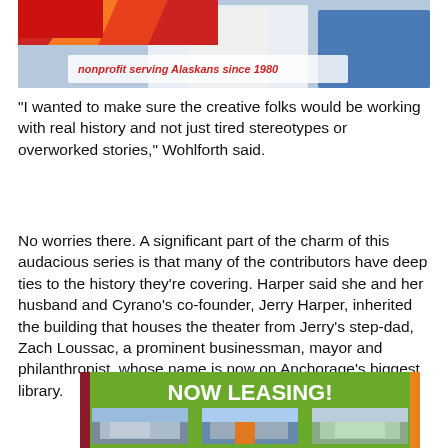[Figure (photo): Top portion of an advertisement showing a person in a white coat and another person, with a logo/banner reading 'nonprofit serving Alaskans since 1980' in red/orange/white colors]
"I wanted to make sure the creative folks would be working with real history and not just tired stereotypes or overworked stories," Wohlforth said.
No worries there. A significant part of the charm of this audacious series is that many of the contributors have deep ties to the history they're covering. Harper said she and her husband and Cyrano's co-founder, Jerry Harper, inherited the building that houses the theater from Jerry's step-dad, Zach Loussac, a prominent businessman, mayor and philanthropist, whose name is now on Anchorage's biggest library.
[Figure (photo): Green advertisement banner reading 'NOW LEASING!' in bold white text, with three photos of commercial buildings below]